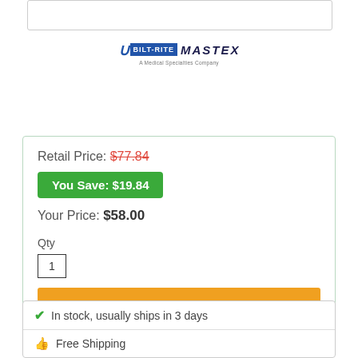[Figure (logo): Bilt-Rite Mastex logo with blue stylized B and bold text]
Retail Price: $77.84
You Save: $19.84
Your Price: $58.00
Qty
1
Add to Cart
✔ In stock, usually ships in 3 days
Free Shipping